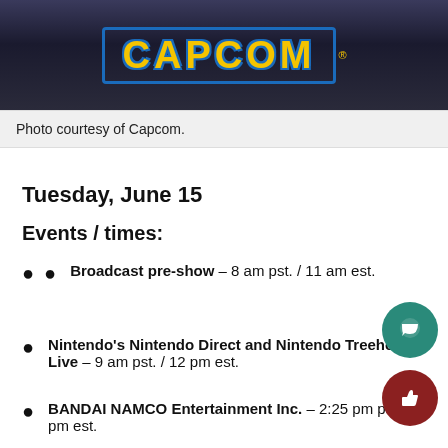[Figure (photo): Capcom branded banner image with dark background showing game characters and the Capcom logo in yellow with blue outline border]
Photo courtesy of Capcom.
Tuesday, June 15
Events / times:
Broadcast pre-show – 8 am pst. / 11 am est.
Nintendo's Nintendo Direct and Nintendo Treehouse Live – 9 am pst. / 12 pm est.
BANDAI NAMCO Entertainment Inc. – 2:25 pm pst. / pm est.